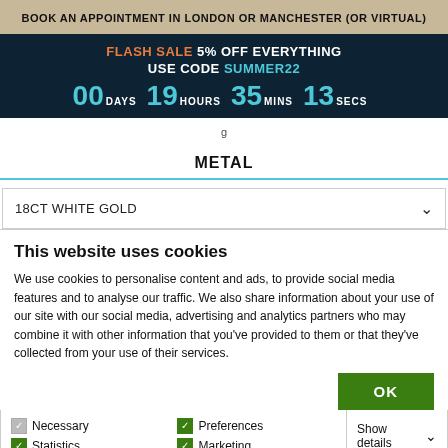BOOK AN APPOINTMENT IN LONDON OR MANCHESTER (OR VIRTUAL)
FLASH SALE 5% OFF EVERYTHING USE CODE SUMMER22 00 DAYS 19 HOURS 35 MINS 13 SECS
METAL
18CT WHITE GOLD
This website uses cookies
We use cookies to personalise content and ads, to provide social media features and to analyse our traffic. We also share information about your use of our site with our social media, advertising and analytics partners who may combine it with other information that you've provided to them or that they've collected from your use of their services.
OK
Necessary  Preferences  Statistics  Marketing  Show details